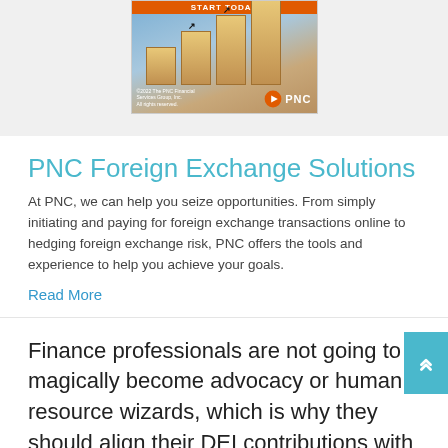[Figure (photo): PNC Financial Services advertisement showing wooden blocks stacked like stairs with upward arrows, 'START TODAY' orange banner at top, PNC logo at bottom right, copyright notice.]
PNC Foreign Exchange Solutions
At PNC, we can help you seize opportunities. From simply initiating and paying for foreign exchange transactions online to hedging foreign exchange risk, PNC offers the tools and experience to help you achieve your goals.
Read More
Finance professionals are not going to magically become advocacy or human resource wizards, which is why they should align their DEI contributions with the skills they excel at. "What is one tactic that I can